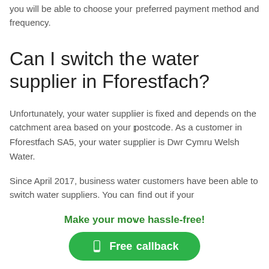you will be able to choose your preferred payment method and frequency.
Can I switch the water supplier in Fforestfach?
Unfortunately, your water supplier is fixed and depends on the catchment area based on your postcode. As a customer in Fforestfach SA5, your water supplier is Dwr Cymru Welsh Water.
Since April 2017, business water customers have been able to switch water suppliers. You can find out if your
Make your move hassle-free!
Free callback